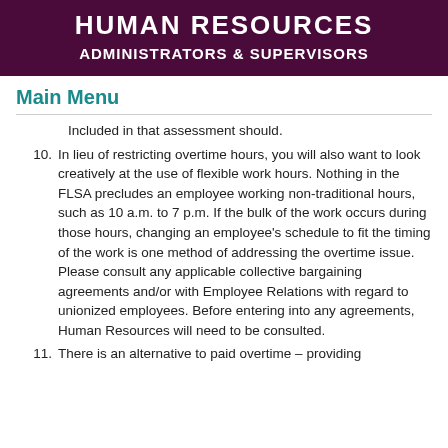HUMAN RESOURCES
ADMINISTRATORS & SUPERVISORS
Main Menu
Included in that assessment should.
10. In lieu of restricting overtime hours, you will also want to look creatively at the use of flexible work hours. Nothing in the FLSA precludes an employee working non-traditional hours, such as 10 a.m. to 7 p.m. If the bulk of the work occurs during those hours, changing an employee's schedule to fit the timing of the work is one method of addressing the overtime issue. Please consult any applicable collective bargaining agreements and/or with Employee Relations with regard to unionized employees. Before entering into any agreements, Human Resources will need to be consulted.
11. There is an alternative to paid overtime – providing